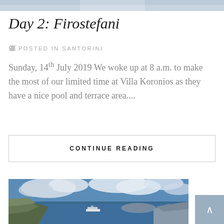[Figure (photo): Top portion of a travel/lifestyle photo, partially visible at the top of the page]
Day 2: Firostefani
🏷 POSTED IN SANTORINI
Sunday, 14th July 2019 We woke up at 8 a.m. to make the most of our limited time at Villa Koronios as they have a nice pool and terrace area....
CONTINUE READING
[Figure (photo): Aerial panoramic photo of Santorini caldera with blue sea, cruise ship, clouds, and rocky cliffs]